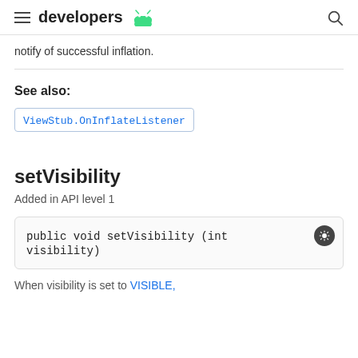developers
notify of successful inflation.
See also:
ViewStub.OnInflateListener
setVisibility
Added in API level 1
public void setVisibility (int visibility)
When visibility is set to VISIBLE,